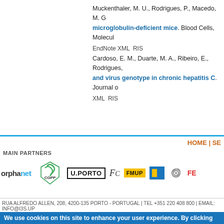Muckenthaler, M. U., Rodrigues, P., Macedo, M. G microglobulin-deficient mice. Blood Cells, Molecul EndNoteXML RIS
Cardoso, E. M., Duarte, M. A., Ribeiro, E., Rodrigues, and virus genotype in chronic hepatitis C. Journal o XML RIS
HOME | SE
MAIN PARTNERS
[Figure (logo): Row of partner logos: orphanet, CGPP, U.PORTO, FC, FMUP, blue square logo, spiral logo, FE]
RUA ALFREDO ALLEN, 208, 4200-135 PORTO - PORTUGAL | TEL +351 220 408 800 | EMAIL: INFO@I3S.UP
We use cookies on this site to enhance your user experience. By clicking